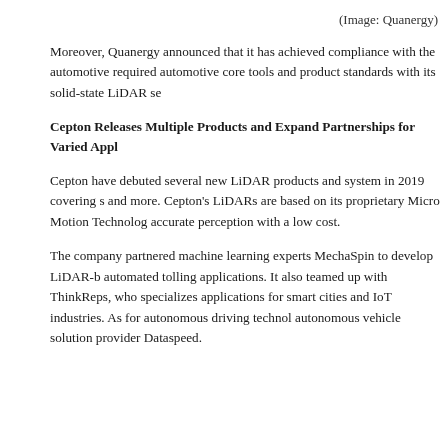(Image: Quanergy)
Moreover, Quanergy announced that it has achieved compliance with the automotive required automotive core tools and product standards with its solid-state LiDAR se
Cepton Releases Multiple Products and Expand Partnerships for Varied Appl
Cepton have debuted several new LiDAR products and system in 2019 covering s and more. Cepton's LiDARs are based on its proprietary Micro Motion Technolog accurate perception with a low cost.
The company partnered machine learning experts MechaSpin to develop LiDAR-b automated tolling applications. It also teamed up with ThinkReps, who specializes applications for smart cities and IoT industries. As for autonomous driving techno autonomous vehicle solution provider Dataspeed.